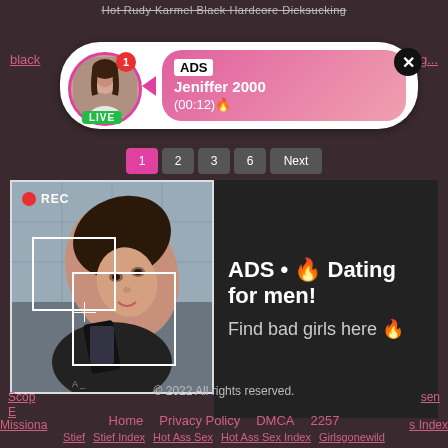Hot Rudy Karmel Black Hardcore Dicksucking
black ... big...
[Figure (screenshot): Ad notification popup with avatar photo of woman, LIVE badge, ADS label, name Jeniffer 2000, time (00:12), pink gradient background, close X button]
ADS Jeniffer 2000 (00:12)
[Figure (photo): Woman taking a selfie in dark room with phone, REC indicator, focus boxes overlay, ad overlay with text: ADS • Dating for men! Find bad girls here]
ADS • 🔥 Dating for men! Find bad girls here 🔥
Scop... E... Missiona... sen ... s Index
Stief   Stief Index   Hot Ass Sex   Hot Ass Sex Index   Girlsgonewild
Girlsgonewild Index   Gang Bang   Gang Bang Index
© 2022 All rights reserved.
Home   Privacy Policy   DMCA   2257